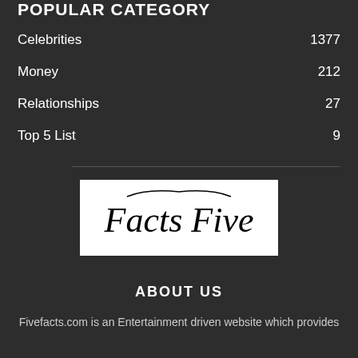POPULAR CATEGORY
Celebrities 1377
Money 212
Relationships 27
Top 5 List 9
[Figure (logo): Facts Five logo in cursive/script font on white background]
ABOUT US
Fivefacts.com is an Entertainment driven website which provides